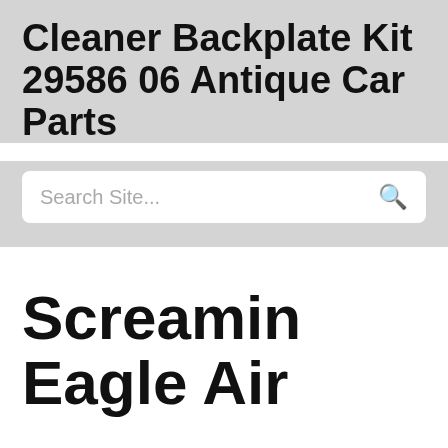Cleaner Backplate Kit 29586 06 Antique Car Parts
Search Site...
Screamin Eagle Air